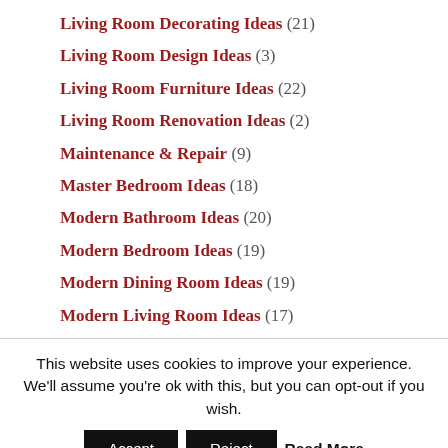Living Room Decorating Ideas (21)
Living Room Design Ideas (3)
Living Room Furniture Ideas (22)
Living Room Renovation Ideas (2)
Maintenance & Repair (9)
Master Bedroom Ideas (18)
Modern Bathroom Ideas (20)
Modern Bedroom Ideas (19)
Modern Dining Room Ideas (19)
Modern Living Room Ideas (17)
This website uses cookies to improve your experience. We'll assume you're ok with this, but you can opt-out if you wish. Accept Reject Read More